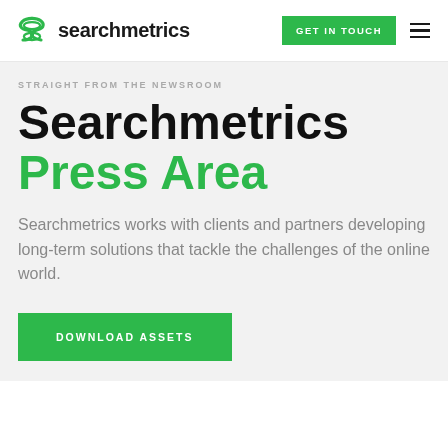searchmetrics | GET IN TOUCH | ≡
STRAIGHT FROM THE NEWSROOM
Searchmetrics Press Area
Searchmetrics works with clients and partners developing long-term solutions that tackle the challenges of the online world.
DOWNLOAD ASSETS